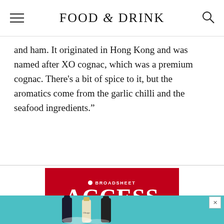FOOD & DRINK
and ham. It originated in Hong Kong and was named after XO cognac, which was a premium cognac. There’s a bit of spice to it, but the aromatics come from the garlic chilli and the seafood ingredients.”
[Figure (illustration): Red advertisement banner for Broadsheet Access membership with white text showing a bullet point, 'BROADSHEET' in small caps, and 'ACCESS' in large bold serif font.]
[Figure (photo): Advertisement banner with teal/turquoise background showing wine bottles and food products including what appears to be Obago branded items.]